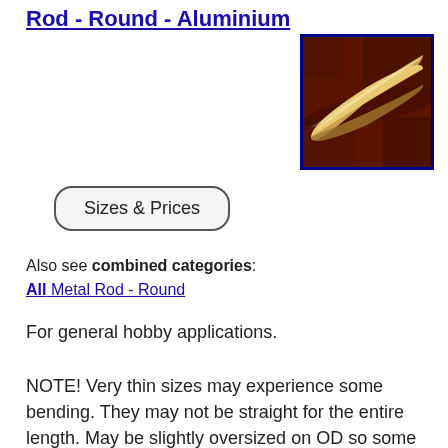Rod - Round - Aluminium
[Figure (photo): Photo of a round aluminium rod on a dark brown/red background, showing a cylindrical metallic rod with a light golden sheen, framed with a blue border.]
Sizes & Prices
Also see combined categories:
All Metal Rod - Round
For general hobby applications.
NOTE! Very thin sizes may experience some bending. They may not be straight for the entire length. May be slightly oversized on OD so some reworking may be required before fitting closely mating parts such as